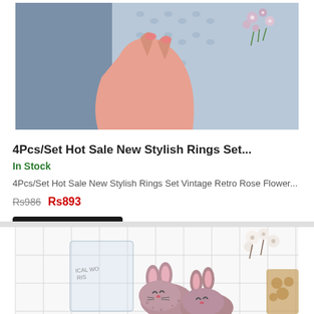[Figure (photo): Top portion of a product photo showing a hand holding knitted accessories with flowers, against a denim background. Only the bottom portion of the image is visible (cropped at top).]
4Pcs/Set Hot Sale New Stylish Rings Set...
In Stock
4Pcs/Set Hot Sale New Stylish Rings Set Vintage Retro Rose Flower...
Rs986  Rs893
ADD TO CART
+ ADD TO COMPARE
[Figure (photo): Bottom portion of a second product listing showing fuzzy pink bunny-ear slippers/gloves with sleeping face design, on a white grid background with cotton flowers.]